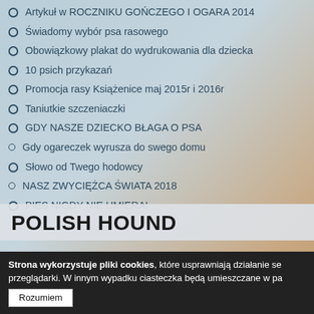Artykuł w ROCZNIKU GOŃCZEGO I OGARA 2014
Świadomy wybór psa rasowego
Obowiązkowy plakat do wydrukowania dla dziecka
10 psich przykazań
Promocja rasy Książenice maj 2015r i 2016r
Taniutkie szczeniaczki
GDY NASZE DZIECKO BŁAGA O PSA
Gdy ogareczek wyrusza do swego domu
Słowo od Twego hodowcy
NASZ ZWYCIĘŻCA ŚWIATA 2018
PIES NIGDY NIE UMIERA!
POLISH HOUND
Strona wykorzystuje pliki cookies, które usprawniają działanie se przeglądarki. W innym wypadku ciasteczka będą umieszczane w pa
Rozumiem